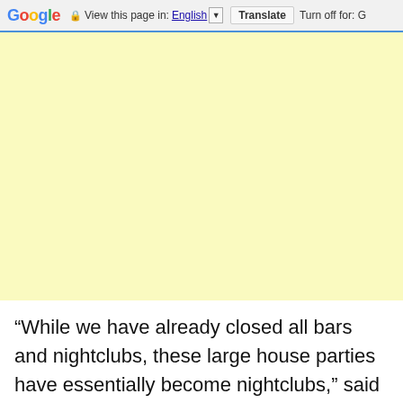Google | View this page in: English [▼] Translate Turn off for: G
[Figure (other): Large yellow/cream colored advertisement banner area]
“While we have already closed all bars and nightclubs, these large house parties have essentially become nightclubs,” said the mayor. He